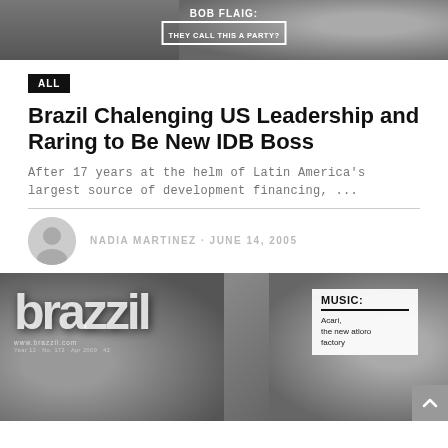[Figure (photo): Black and white photo with overlaid text reading 'BOB FLAIG: THEY CALL THIS A PARTY?' in a boxed label]
ALL
Brazil Chalenging US Leadership and Raring to Be New IDB Boss
After 17 years at the helm of Latin America's largest source of development financing, ...
NADIA MARTINEZ · JUNE 14, 2005
[Figure (photo): Black and white magazine cover for 'brazzil' magazine showing issue No. 172, April 2000, with text 'MUSIC: Acari, the new atloro factory' and website www.brazzil.com]